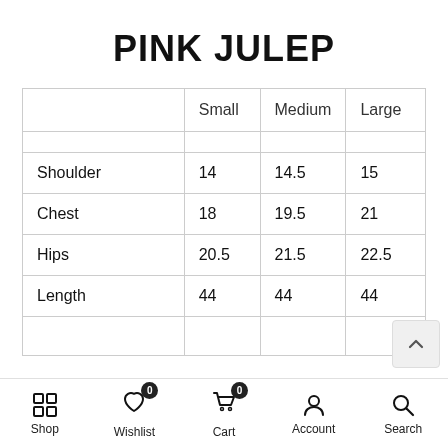PINK JULEP
|  | Small | Medium | Large |
| --- | --- | --- | --- |
|  |  |  |  |
| Shoulder | 14 | 14.5 | 15 |
| Chest | 18 | 19.5 | 21 |
| Hips | 20.5 | 21.5 | 22.5 |
| Length | 44 | 44 | 44 |
| ... | ... | ... | ... |
Shop  Wishlist 0  Cart 0  Account  Search